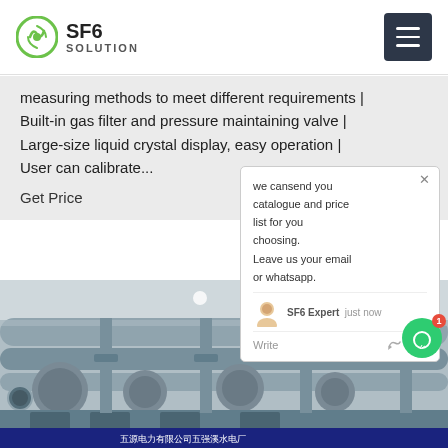SF6 SOLUTION
measuring methods to meet different requirements | Built-in gas filter and pressure maintaining valve | Large-size liquid crystal display, easy operation | User can calibrate...
Get Price
we cansend you catalogue and price list for you choosing. Leave us your email or whatsapp.
[Figure (photo): Industrial SF6 gas equipment — large grey pipes, gauges, and switchgear inside a facility. Banner text visible at bottom: company name in Chinese characters.]